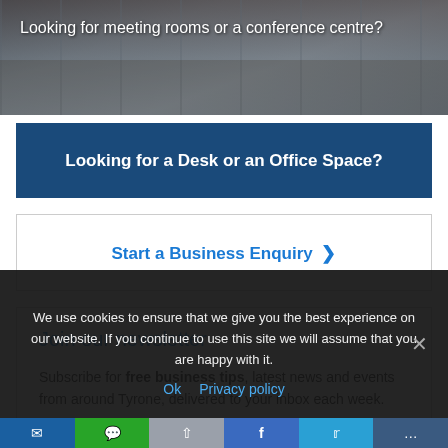[Figure (photo): Photo of a conference room with a long table and chairs, with text overlay 'Looking for meeting rooms or a conference centre?']
Looking for a Desk or an Office Space?
Start a Business Enquiry >
Join our newsletter
Subscribe for free business tips, latest news and events from around Tyrone, delivered to your inbox each week.
First Name:
We use cookies to ensure that we give you the best experience on our website. If you continue to use this site we will assume that you are happy with it.
Ok  Privacy policy